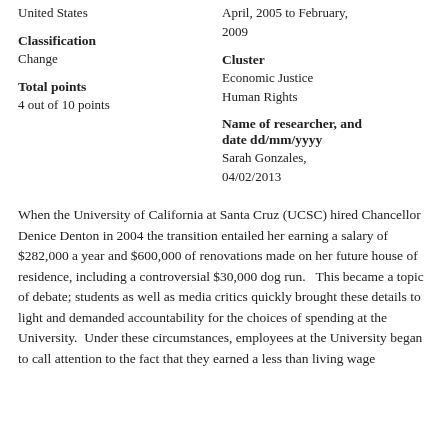United States
April, 2005 to February, 2009
Classification
Change
Cluster
Economic Justice
Human Rights
Total points
4 out of 10 points
Name of researcher, and date dd/mm/yyyy
Sarah Gonzales, 04/02/2013
When the University of California at Santa Cruz (UCSC) hired Chancellor Denice Denton in 2004 the transition entailed her earning a salary of $282,000 a year and $600,000 of renovations made on her future house of residence, including a controversial $30,000 dog run.   This became a topic of debate; students as well as media critics quickly brought these details to light and demanded accountability for the choices of spending at the University.  Under these circumstances, employees at the University began to call attention to the fact that they earned a less than living wage